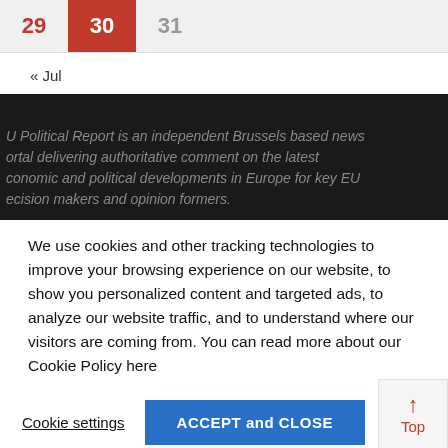| 29 | 30 | 31 |
« Jul
EU Political Report is an independent Brussels based news portal delivering authoritative comment on the latest economic and political developments in Europe for key EU decision makers and opinion formers.
We use cookies and other tracking technologies to improve your browsing experience on our website, to show you personalized content and targeted ads, to analyze our website traffic, and to understand where our visitors are coming from. You can read more about our Cookie Policy here
Cookie settings
ACCEPT and CLOSE
Top